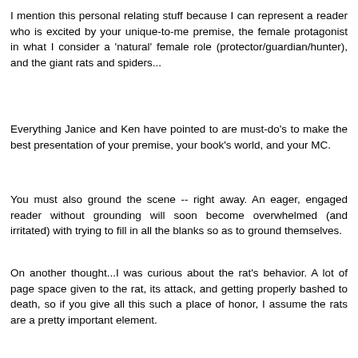I mention this personal relating stuff because I can represent a reader who is excited by your unique-to-me premise, the female protagonist in what I consider a 'natural' female role (protector/guardian/hunter), and the giant rats and spiders...
Everything Janice and Ken have pointed to are must-do's to make the best presentation of your premise, your book's world, and your MC.
You must also ground the scene -- right away. An eager, engaged reader without grounding will soon become overwhelmed (and irritated) with trying to fill in all the blanks so as to ground themselves.
On another thought...I was curious about the rat's behavior. A lot of page space given to the rat, its attack, and getting properly bashed to death, so if you give all this such a place of honor, I assume the rats are a pretty important element.